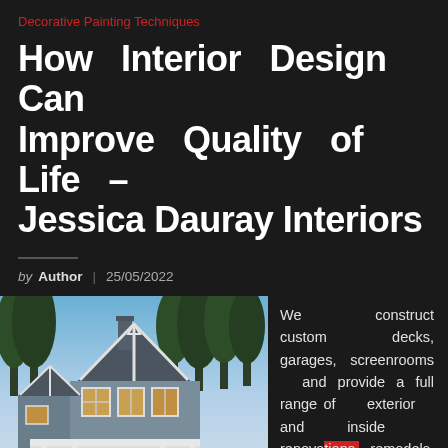Decorative Painting Techniques
How Interior Design Can Improve Quality of Life – Jessica Dauray Interiors
by Author | 25/05/2022
[Figure (photo): Exterior photo of a craftsman-style house with gray siding, white trim, large windows, a covered porch, and tall pine trees in the background at dusk.]
We construct custom decks, garages, screenrooms and provide a full range of exterior and inside renovations, remodels, additions. We're a